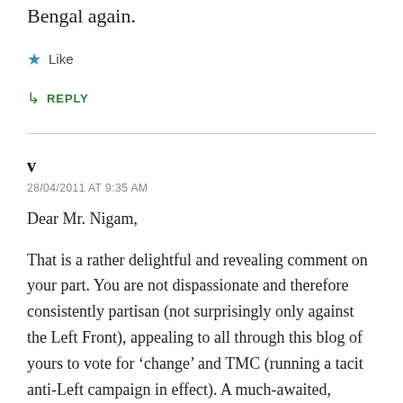Bengal again.
Like
REPLY
v
28/04/2011 AT 9:35 AM
Dear Mr. Nigam,
That is a rather delightful and revealing comment on your part. You are not dispassionate and therefore consistently partisan (not surprisingly only against the Left Front), appealing to all through this blog of yours to vote for ‘change’ and TMC (running a tacit anti-Left campaign in effect). A much-awaited, though still timely admission of the propaganda tool this blog has become. It is also